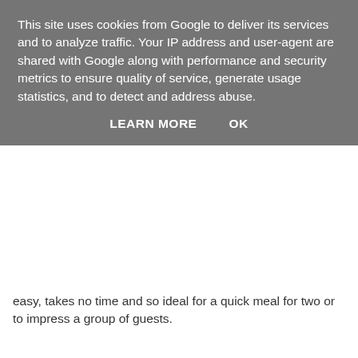This site uses cookies from Google to deliver its services and to analyze traffic. Your IP address and user-agent are shared with Google along with performance and security metrics to ensure quality of service, generate usage statistics, and to detect and address abuse.
LEARN MORE   OK
easy, takes no time and so ideal for a quick meal for two or to impress a group of guests.
Ingredients (6 people):
500gr risotto rice (I prefer Carnaroli)
±100-150gr Gorgonzola piccante (the drier spicier one) + some slices for decoration
±100-150gr Gorgonzola dolce (the creamy one, to give a nice texture to the risotto)